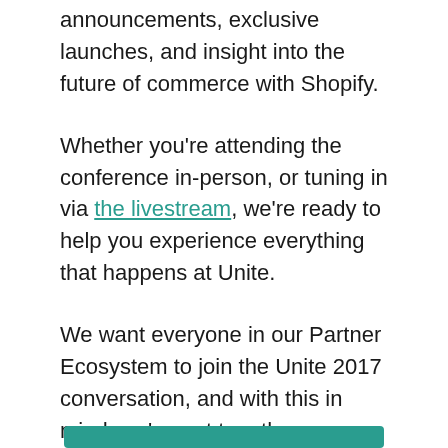announcements, exclusive launches, and insight into the future of commerce with Shopify.
Whether you're attending the conference in-person, or tuning in via the livestream, we're ready to help you experience everything that happens at Unite.
We want everyone in our Partner Ecosystem to join the Unite 2017 conversation, and with this in mind, we've put together some suggestions on how you can engage with us, and each other, regardless of where you are.
[Figure (other): Green button at bottom of page, partially visible]